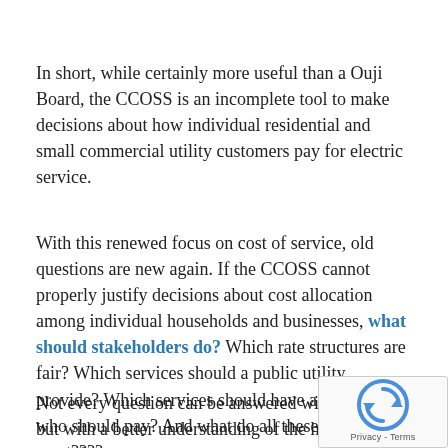In short, while certainly more useful than a Ouji Board, the CCOSS is an incomplete tool to make decisions about how individual residential and small commercial utility customers pay for electric service.
With this renewed focus on cost of service, old questions are new again. If the CCOSS cannot properly justify decisions about cost allocation among individual households and businesses, what should stakeholders do? Which rate structures are fair? Which services should a public utility provide? Which services should have a price and who should pay? And what do all these spirits want????
Not every question can be answered with a CCOSS, but with a better understanding of the history of cost of